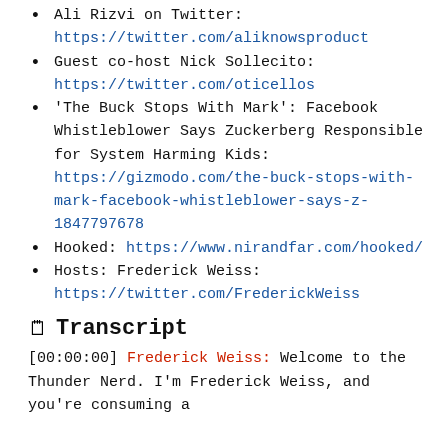Ali Rizvi on Twitter: https://twitter.com/aliknowsproduct
Guest co-host Nick Sollecito: https://twitter.com/oticellos
'The Buck Stops With Mark': Facebook Whistleblower Says Zuckerberg Responsible for System Harming Kids: https://gizmodo.com/the-buck-stops-with-mark-facebook-whistleblower-says-z-1847797678
Hooked: https://www.nirandfar.com/hooked/
Hosts: Frederick Weiss: https://twitter.com/FrederickWeiss
🗒 Transcript
[00:00:00] Frederick Weiss: Welcome to the Thunder Nerd. I'm Frederick Weiss, and you're consuming a